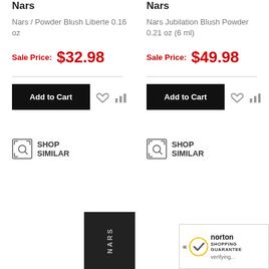Nars
Nars / Powder Blush Liberte 0.16 oz
Sale Price: $32.98
Add to Cart
SHOP SIMILAR
Nars
Nars Jubilation Blush Powder 0.21 oz (6 ml)
Sale Price: $49.98
Add to Cart
SHOP SIMILAR
[Figure (photo): NARS product packaging, black box with NARS text]
[Figure (logo): Norton Shopping Guarantee badge with checkmark, verifying...]